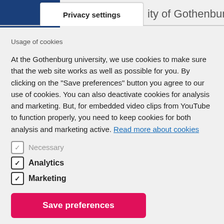Privacy settings | ity of Gothenburg
Usage of cookies
At the Gothenburg university, we use cookies to make sure that the web site works as well as possible for you. By clicking on the "Save preferences" button you agree to our use of cookies. You can also deactivate cookies for analysis and marketing. But, for embedded video clips from YouTube to function properly, you need to keep cookies for both analysis and marketing active. Read more about cookies
Necessary
Analytics
Marketing
Save preferences